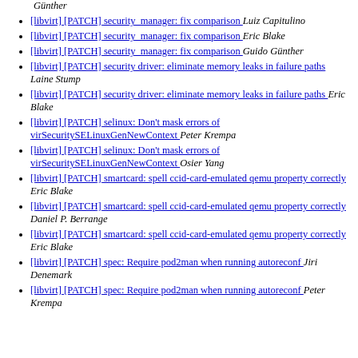[libvirt] [PATCH] security_manager: fix comparison  Luiz Capitulino
[libvirt] [PATCH] security_manager: fix comparison  Eric Blake
[libvirt] [PATCH] security_manager: fix comparison  Guido Günther
[libvirt] [PATCH] security driver: eliminate memory leaks in failure paths  Laine Stump
[libvirt] [PATCH] security driver: eliminate memory leaks in failure paths  Eric Blake
[libvirt] [PATCH] selinux: Don't mask errors of virSecuritySELinuxGenNewContext  Peter Krempa
[libvirt] [PATCH] selinux: Don't mask errors of virSecuritySELinuxGenNewContext  Osier Yang
[libvirt] [PATCH] smartcard: spell ccid-card-emulated qemu property correctly  Eric Blake
[libvirt] [PATCH] smartcard: spell ccid-card-emulated qemu property correctly  Daniel P. Berrange
[libvirt] [PATCH] smartcard: spell ccid-card-emulated qemu property correctly  Eric Blake
[libvirt] [PATCH] spec: Require pod2man when running autoreconf  Jiri Denemark
[libvirt] [PATCH] spec: Require pod2man when running autoreconf  Peter Krempa